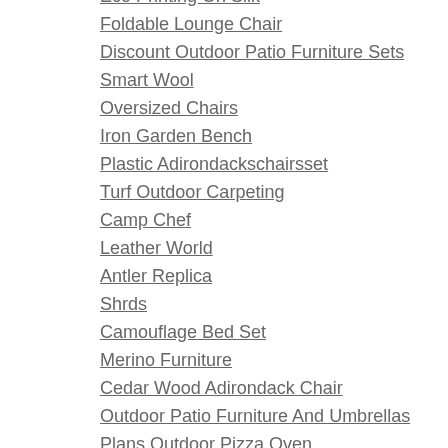Eco Printing On Silk
Foldable Lounge Chair
Discount Outdoor Patio Furniture Sets
Smart Wool
Oversized Chairs
Iron Garden Bench
Plastic Adirondackschairsset
Turf Outdoor Carpeting
Camp Chef
Leather World
Antler Replica
Shrds
Camouflage Bed Set
Merino Furniture
Cedar Wood Adirondack Chair
Outdoor Patio Furniture And Umbrellas
Plans Outdoor Pizza Oven
Portable Folding Firepits